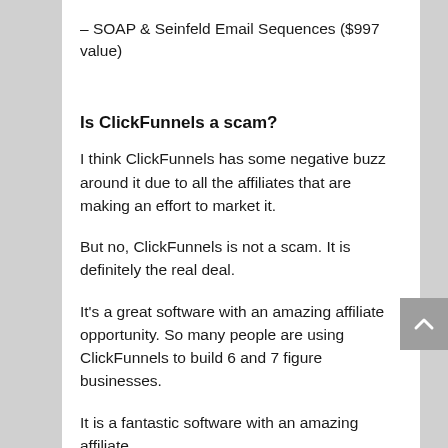– SOAP & Seinfeld Email Sequences ($997 value)
Is ClickFunnels a scam?
I think ClickFunnels has some negative buzz around it due to all the affiliates that are making an effort to market it.
But no, ClickFunnels is not a scam. It is definitely the real deal.
It's a great software with an amazing affiliate opportunity. So many people are using ClickFunnels to build 6 and 7 figure businesses.
It is a fantastic software with an amazing affiliate